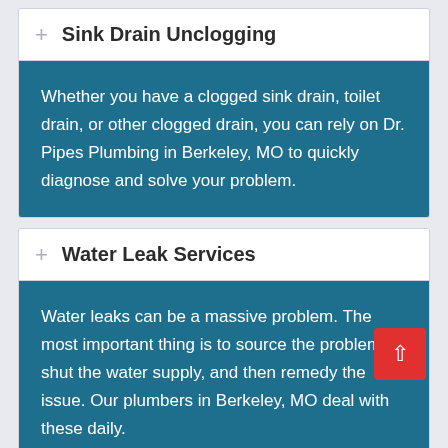Sink Drain Unclogging
Whether you have a clogged sink drain, toilet drain, or other clogged drain, you can rely on Dr. Pipes Plumbing in Berkeley, MO to quickly diagnose and solve your problem.
Water Leak Services
Water leaks can be a massive problem. The most important thing is to source the problem, shut the water supply, and then remedy the issue. Our plumbers in Berkeley, MO deal with these daily.